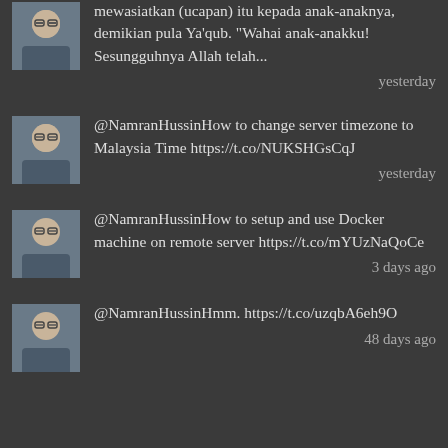mewasiatkan (ucapan) itu kepada anak-anaknya, demikian pula Ya'qub. "Wahai anak-anakku! Sesungguhnya Allah telah...
yesterday
[Figure (photo): Profile photo of a man wearing glasses]
@NamranHussinHow to change server timezone to Malaysia Time https://t.co/NUKSHGsCqJ
yesterday
[Figure (photo): Profile photo of a man wearing glasses]
@NamranHussinHow to setup and use Docker machine on remote server https://t.co/mYUzNaQoCe
3 days ago
[Figure (photo): Profile photo of a man wearing glasses]
@NamranHussinHmm. https://t.co/uzqbA6eh9O
48 days ago